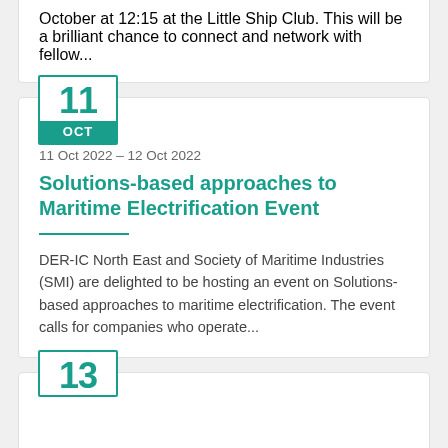October at 12:15 at the Little Ship Club. This will be a brilliant chance to connect and network with fellow...
11 Oct 2022 – 12 Oct 2022
Solutions-based approaches to Maritime Electrification Event
DER-IC North East and Society of Maritime Industries (SMI) are delighted to be hosting an event on Solutions-based approaches to maritime electrification. The event calls for companies who operate...
13